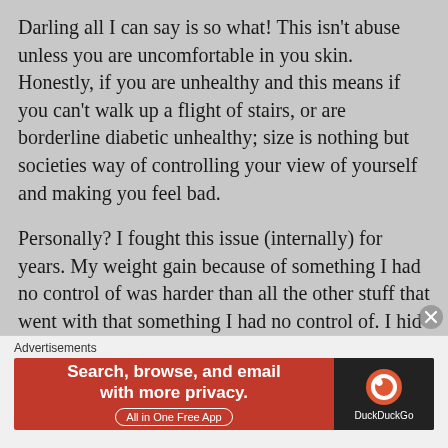Darling all I can say is so what! This isn't abuse unless you are uncomfortable in you skin. Honestly, if you are unhealthy and this means if you can't walk up a flight of stairs, or are borderline diabetic unhealthy; size is nothing but societies way of controlling your view of yourself and making you feel bad.
Personally? I fought this issue (internally) for years. My weight gain because of something I had no control of was harder than all the other stuff that went with that something I had no control of. I hid from the world for years. I felt ugly and unloved for years (some days honestly I still do). There are days I want to pick up the phone and risk my life for weight loss surgery because that is the only way I will ever lose it. The reality is
Advertisements
[Figure (other): DuckDuckGo advertisement banner with orange left panel reading 'Search, browse, and email with more privacy. All in One Free App' and dark right panel with DuckDuckGo logo and name.]